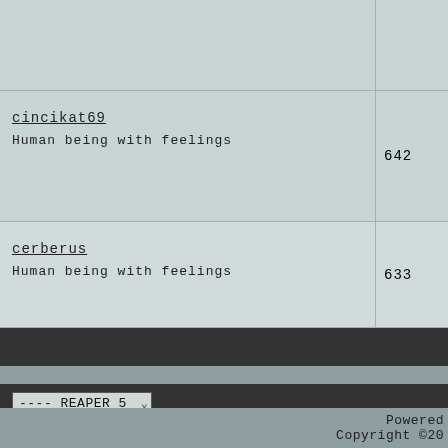| User | Posts |
| --- | --- |
|  |  |
| cincikat69
Human being with feelings | 642 |
| cerberus
Human being with feelings | 633 |
All times are G
---- REAPER 5
Powered
Copyright ©20